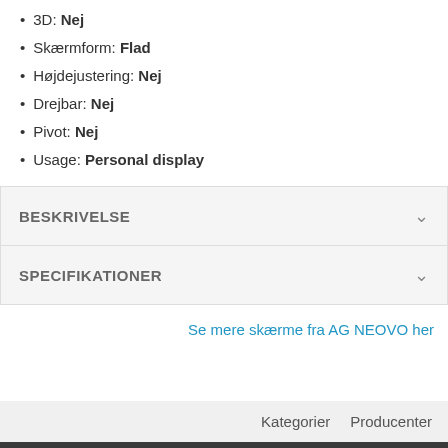3D: Nej
Skærmform: Flad
Højdejustering: Nej
Drejbar: Nej
Pivot: Nej
Usage: Personal display
BESKRIVELSE
SPECIFIKATIONER
Se mere skærme fra AG NEOVO her
Kategorier   Producenter
Stratek Data Finsensvej 8 2000 Frederiksberg Telefonnummer: + 45